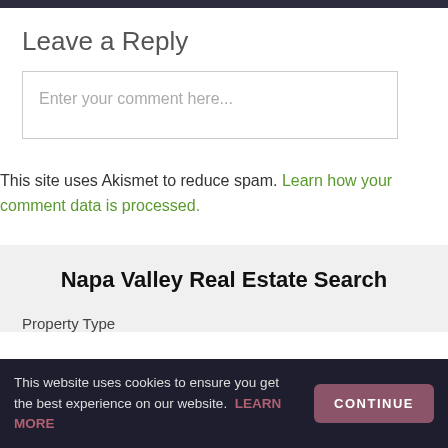Leave a Reply
Enter your comment here...
This site uses Akismet to reduce spam. Learn how your comment data is processed.
Napa Valley Real Estate Search
Property Type
This website uses cookies to ensure you get the best experience on our website. LEARN MORE
CONTINUE